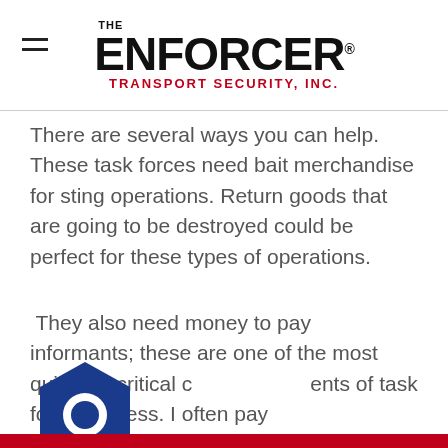THE ENFORCER® TRANSPORT SECURITY, INC.
There are several ways you can help.  These task forces need bait merchandise for sting operations. Return goods that are going to be destroyed could be perfect for these types of operations.
They also need money to pay informants; these are one of the most quiet but critical components of task force success. I often pay for expenses for officers to attend industry related events.